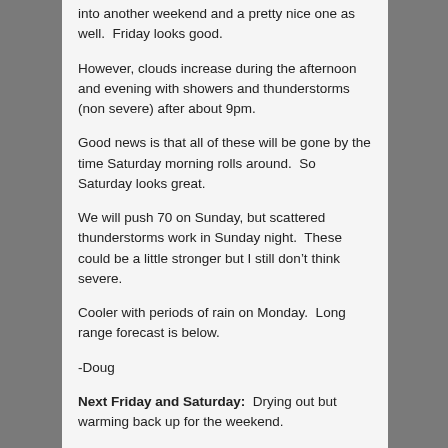into another weekend and a pretty nice one as well.  Friday looks good.
However, clouds increase during the afternoon and evening with showers and thunderstorms (non severe) after about 9pm.
Good news is that all of these will be gone by the time Saturday morning rolls around.  So Saturday looks great.
We will push 70 on Sunday, but scattered thunderstorms work in Sunday night.  These could be a little stronger but I still don’t think severe.
Cooler with periods of rain on Monday.  Long range forecast is below.
-Doug
Next Friday and Saturday:  Drying out but warming back up for the weekend.